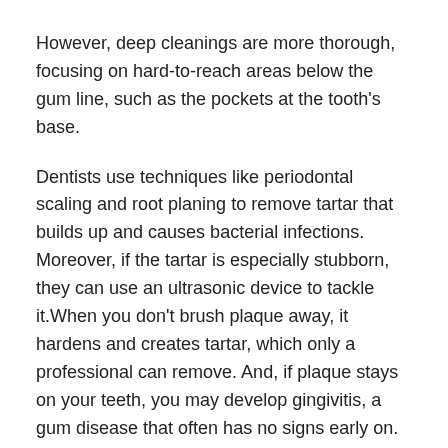However, deep cleanings are more thorough, focusing on hard-to-reach areas below the gum line, such as the pockets at the tooth's base.
Dentists use techniques like periodontal scaling and root planing to remove tartar that builds up and causes bacterial infections. Moreover, if the tartar is especially stubborn, they can use an ultrasonic device to tackle it.When you don't brush plaque away, it hardens and creates tartar, which only a professional can remove. And, if plaque stays on your teeth, you may develop gingivitis, a gum disease that often has no signs early on.
Depending on how sensitive your teeth are and the severity of your tartar, you may have to break the deep